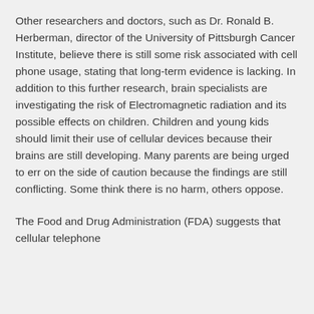Other researchers and doctors, such as Dr. Ronald B. Herberman, director of the University of Pittsburgh Cancer Institute, believe there is still some risk associated with cell phone usage, stating that long-term evidence is lacking. In addition to this further research, brain specialists are investigating the risk of Electromagnetic radiation and its possible effects on children. Children and young kids should limit their use of cellular devices because their brains are still developing. Many parents are being urged to err on the side of caution because the findings are still conflicting. Some think there is no harm, others oppose.
The Food and Drug Administration (FDA) suggests that cellular telephone